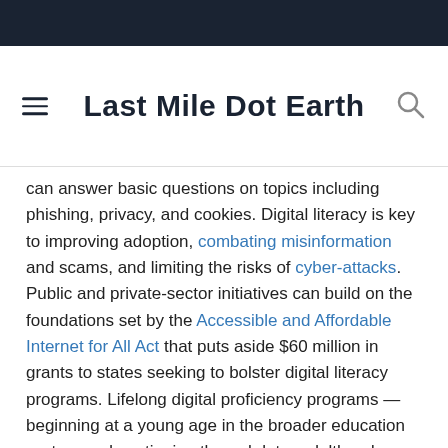Last Mile Dot Earth
can answer basic questions on topics including phishing, privacy, and cookies. Digital literacy is key to improving adoption, combating misinformation and scams, and limiting the risks of cyber-attacks. Public and private-sector initiatives can build on the foundations set by the Accessible and Affordable Internet for All Act that puts aside $60 million in grants to states seeking to bolster digital literacy programs. Lifelong digital proficiency programs — beginning at a young age in the broader education system and continuing through later adulthood on the job — can offer Americans a source of resilience against these threats and make them better